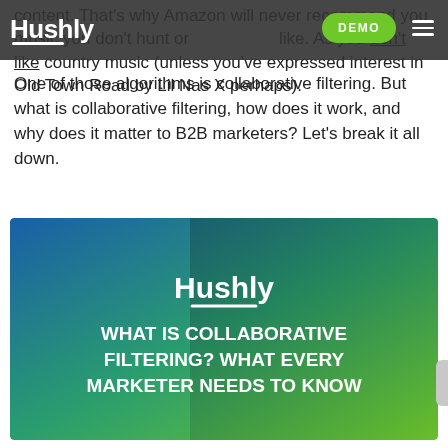Hushly — DEMO (navigation bar)
content. That's why Amazon will never recommend you music you don't hunt or like. As you don't like country music (unless you've expressed interest in Old Town Road by Lil Nas X perhaps).
One of those algorithms is collaborative filtering. But what is collaborative filtering, how does it work, and why does it matter to B2B marketers? Let's break it all down.
[Figure (illustration): Hushly branded banner image with blue-to-green gradient background and overlaid white text reading 'Hushly' with underline, then 'WHAT IS COLLABORATIVE FILTERING? WHAT EVERY MARKETER NEEDS TO KNOW']